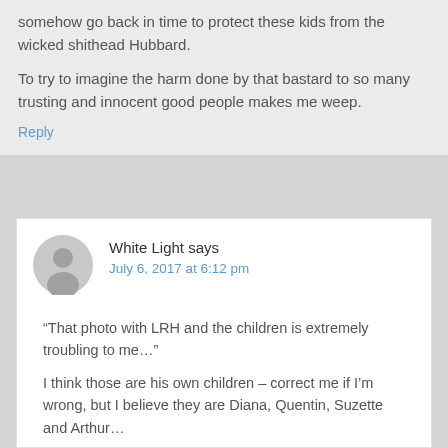somehow go back in time to protect these kids from the wicked shithead Hubbard.
To try to imagine the harm done by that bastard to so many trusting and innocent good people makes me weep.
Reply
White Light says
July 6, 2017 at 6:12 pm
“That photo with LRH and the children is extremely troubling to me…”
I think those are his own children – correct me if I’m wrong, but I believe they are Diana, Quentin, Suzette and Arthur…